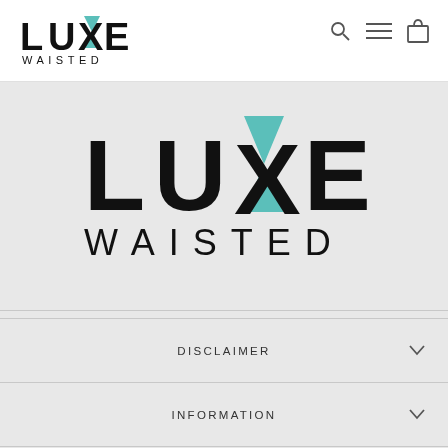[Figure (logo): Luxe Waisted logo in header, small version with teal X]
[Figure (logo): Luxe Waisted large logo centered on grey background with teal X]
DISCLAIMER
INFORMATION
STORE POLICIES